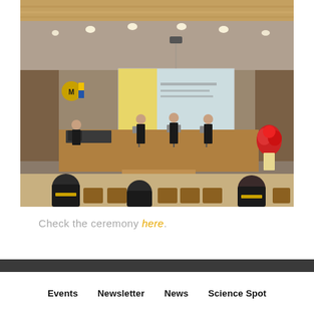[Figure (photo): Indoor university auditorium ceremony photo showing three performers in black on a wooden stage with a projection screen behind them showing yellow and light blue slides. Several audience members in academic regalia are seated in the foreground. A university logo is visible on the wall. Floral arrangement visible on the right.]
Check the ceremony here.
Events   Newsletter   News   Science Spot